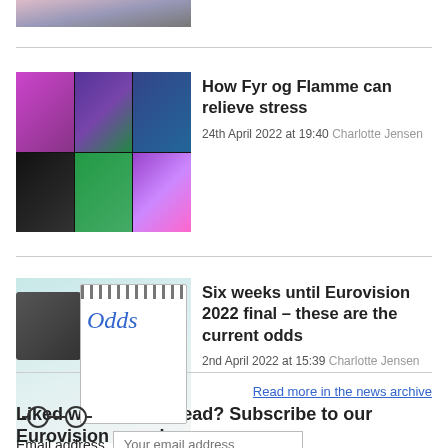[Figure (photo): Partial image of a person at the top of the page]
[Figure (photo): Collage of concert/music performance photos in a 3x2 grid with colorful stage lighting]
How Fyr og Flamme can relieve stress
24th April 2022 at 19:40 Charlotte Jensen
[Figure (photo): Photo of a notepad with 'Odds' written in blue, alongside a keyboard and glasses]
Six weeks until Eurovision 2022 final – these are the current odds
2nd April 2022 at 15:39 Charlotte Jensen
Read more in the news archive
Liked what you've read? Subscribe to our Eurovision news!
Email address  Your email address